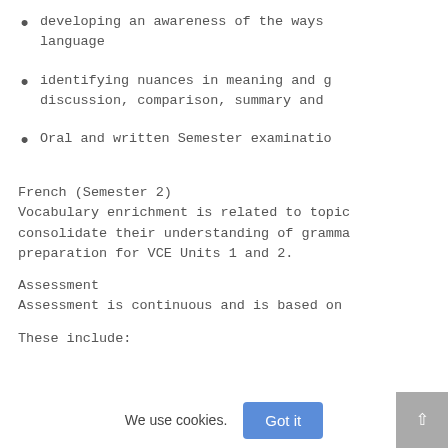developing an awareness of the ways language
identifying nuances in meaning and g discussion, comparison, summary and
Oral and written Semester examinatio
French (Semester 2)
Vocabulary enrichment is related to topic consolidate their understanding of gramma preparation for VCE Units 1 and 2.
Assessment
Assessment is continuous and is based on
These include: